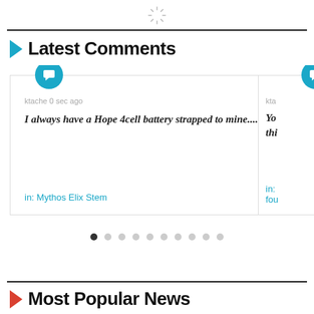[Figure (other): Loading spinner icon at top center]
Latest Comments
ktache 0 sec ago
I always have a Hope 4cell battery strapped to mine....
in: Mythos Elix Stem
Pagination dots (10 dots, first active)
Most Popular News